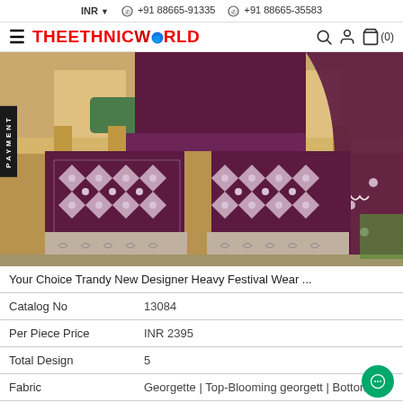INR ▼  +91 88665-91335  +91 88665-35583
[Figure (logo): TheEthnicWorld website logo with hamburger menu, brand name in red, and navigation icons (search, account, bag with count 0)]
[Figure (photo): Product photo of heavy festival wear garment in dark purple/maroon color with silver embroidery on wide-leg palazzo pants and dupatta, displayed on a model, partial view from waist down]
Your Choice Trandy New Designer Heavy Festival Wear ...
| Catalog No | 13084 |
| Per Piece Price | INR 2395 |
| Total Design | 5 |
| Fabric | Georgette | Top-Blooming georgett | Bottom-B |